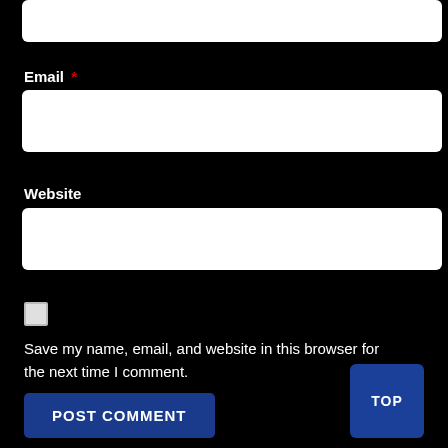[Figure (screenshot): Partial white input box at top of page (cut off)]
Email *
[Figure (screenshot): White input field for Email]
Website
[Figure (screenshot): White input field for Website]
[Figure (screenshot): Unchecked checkbox]
Save my name, email, and website in this browser for the next time I comment.
[Figure (screenshot): POST COMMENT button and TOP button]